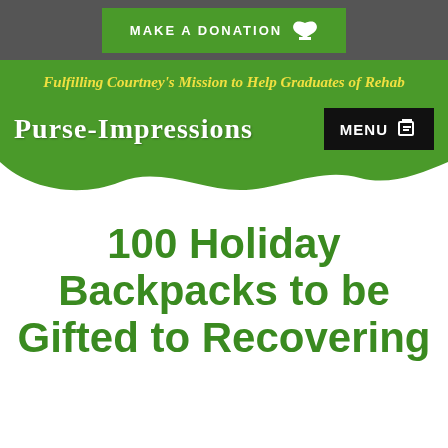MAKE A DONATION
Fulfilling Courtney's Mission to Help Graduates of Rehab
Purse-Impressions
100 Holiday Backpacks to be Gifted to Recovering